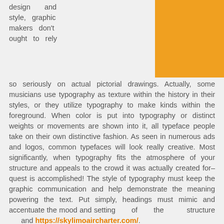[Figure (illustration): Orange rectangle in the top-right portion of the page]
design and style, graphic makers don't ought to rely so seriously on actual pictorial drawings. Actually, some musicians use typography as texture within the history in their styles, or they utilize typography to make kinds within the foreground. When color is put into typography or distinct weights or movements are shown into it, all typeface people take on their own distinctive fashion. As seen in numerous ads and logos, common typefaces will look really creative. Most significantly, when typography fits the atmosphere of your structure and appeals to the crowd it was actually created for–quest is accomplished! The style of typography must keep the graphic communication and help demonstrate the meaning powering the text. Put simply, headings must mimic and accentuate the mood and setting of the structure and https://skylimoaircharter.com/.